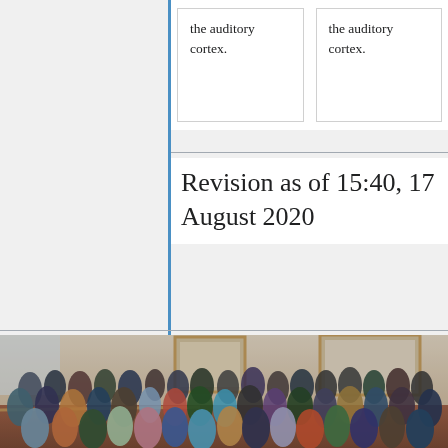the auditory cortex.
the auditory cortex.
Revision as of 15:40, 17 August 2020
[Figure (photo): Large group photograph of approximately 80-100 people posed on a staircase inside a building with framed artwork on the walls. The group appears to be attendees of an academic conference or workshop.]